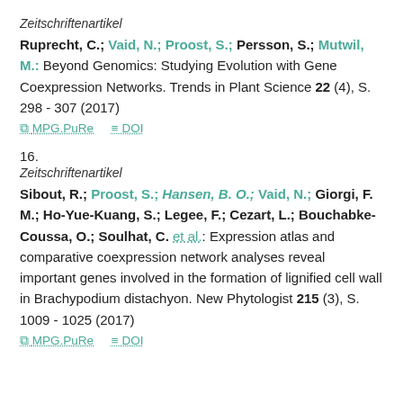Zeitschriftenartikel
Ruprecht, C.; Vaid, N.; Proost, S.; Persson, S.; Mutwil, M.: Beyond Genomics: Studying Evolution with Gene Coexpression Networks. Trends in Plant Science 22 (4), S. 298 - 307 (2017)
MPG.PuRe   DOI
16.
Zeitschriftenartikel
Sibout, R.; Proost, S.; Hansen, B. O.; Vaid, N.; Giorgi, F. M.; Ho-Yue-Kuang, S.; Legee, F.; Cezart, L.; Bouchabke-Coussa, O.; Soulhat, C. et al.: Expression atlas and comparative coexpression network analyses reveal important genes involved in the formation of lignified cell wall in Brachypodium distachyon. New Phytologist 215 (3), S. 1009 - 1025 (2017)
MPG.PuRe   DOI